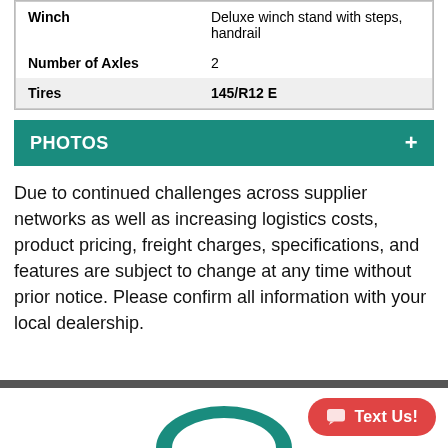| Feature | Value |
| --- | --- |
| Winch | Deluxe winch stand with steps, handrail |
| Number of Axles | 2 |
| Tires | 145/R12 E |
PHOTOS +
Due to continued challenges across supplier networks as well as increasing logistics costs, product pricing, freight charges, specifications, and features are subject to change at any time without prior notice. Please confirm all information with your local dealership.